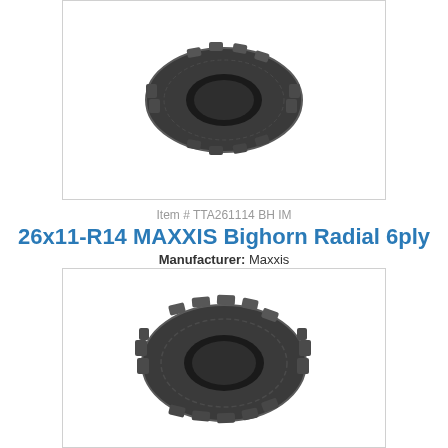[Figure (photo): Front/side view of a MAXXIS Bighorn Radial ATV tire with aggressive tread pattern, shown against white background inside a light gray bordered box.]
Item # TTA261114 BH IM
26x11-R14 MAXXIS Bighorn Radial 6ply
Manufacturer: Maxxis
[Figure (photo): Front/side view of a MAXXIS Bighorn Radial ATV tire with aggressive knobby tread pattern, shown against white background inside a light gray bordered box.]